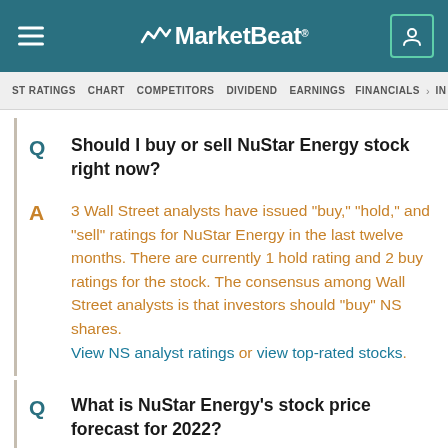MarketBeat
ST RATINGS  CHART  COMPETITORS  DIVIDEND  EARNINGS  FINANCIALS  I
Q  Should I buy or sell NuStar Energy stock right now?
A  3 Wall Street analysts have issued "buy," "hold," and "sell" ratings for NuStar Energy in the last twelve months. There are currently 1 hold rating and 2 buy ratings for the stock. The consensus among Wall Street analysts is that investors should "buy" NS shares. View NS analyst ratings or view top-rated stocks.
Q  What is NuStar Energy's stock price forecast for 2022?
A  Stock analysts have...